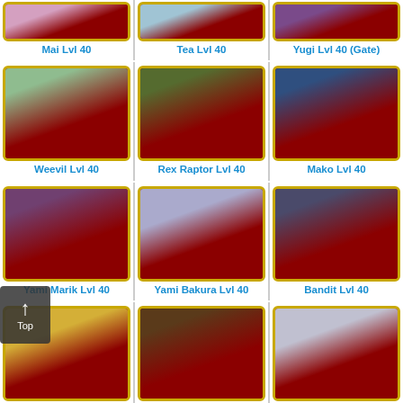[Figure (illustration): Grid of Yu-Gi-Oh! Duel Links character portraits at Level 40. Top partial row shows Mai Lvl 40, Tea Lvl 40, Yugi Lvl 40 (Gate). Second row: Weevil Lvl 40, Rex Raptor Lvl 40, Mako Lvl 40. Third row: Yami Marik Lvl 40, Yami Bakura Lvl 40, Bandit Lvl 40. Fourth row: Ishizu Lvl 40, Odion Lvl 40, Pegasus Lvl 40. Fifth partial row shows three more characters. Each portrait has a gold-bordered red background card frame with character name in blue below.]
Mai Lvl 40
Tea Lvl 40
Yugi Lvl 40 (Gate)
Weevil Lvl 40
Rex Raptor Lvl 40
Mako Lvl 40
Yami Marik Lvl 40
Yami Bakura Lvl 40
Bandit Lvl 40
Ishizu Lvl 40
Odion Lvl 40
Pegasus Lvl 40